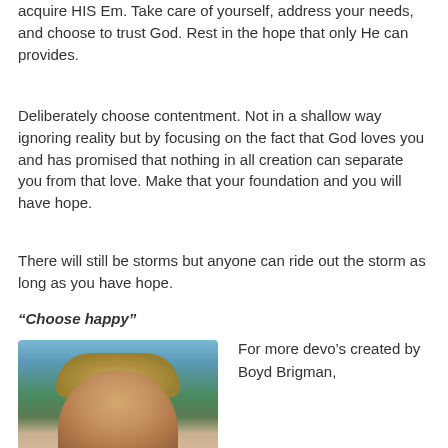acquire HIS Em. Take care of yourself, address your needs, and choose to trust God. Rest in the hope that only He can provides.
Deliberately choose contentment. Not in a shallow way ignoring reality but by focusing on the fact that God loves you and has promised that nothing in all creation can separate you from that love. Make that your foundation and you will have hope.
There will still be storms but anyone can ride out the storm as long as you have hope.
“Choose happy”
[Figure (photo): Portrait photo of Boyd Brigman outdoors with mountains and trees in background]
For more devo’s created by Boyd Brigman,